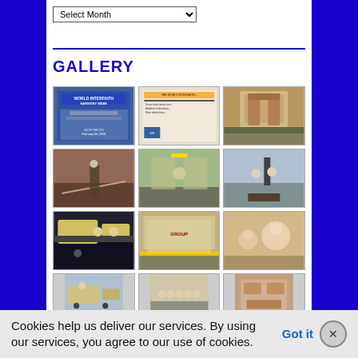[Figure (screenshot): Select Month dropdown widget]
GALLERY
[Figure (photo): Grid of 12 thumbnail photos showing World Interfaith Harmony Week event, documents, architecture, construction/ceremony photos, aircraft and aviation-related photos, and people at various events]
Cookies help us deliver our services. By using our services, you agree to our use of cookies.